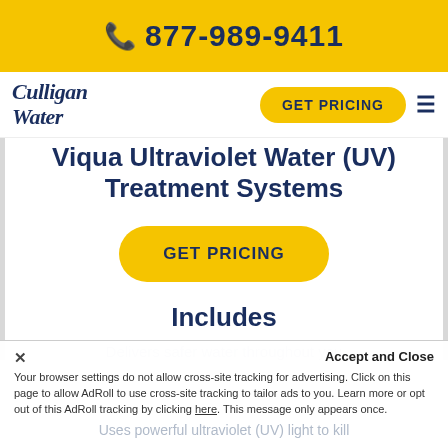877-989-9411
[Figure (logo): Culligan Water logo in navy blue italic script]
Viqua Ultraviolet Water (UV) Treatment Systems
GET PRICING
Includes
Delivers safer water throughout you
Accept and Close
Your browser settings do not allow cross-site tracking for advertising. Click on this page to allow AdRoll to use cross-site tracking to tailor ads to you. Learn more or opt out of this AdRoll tracking by clicking here. This message only appears once.
Uses powerful ultraviolet (UV) light to kill